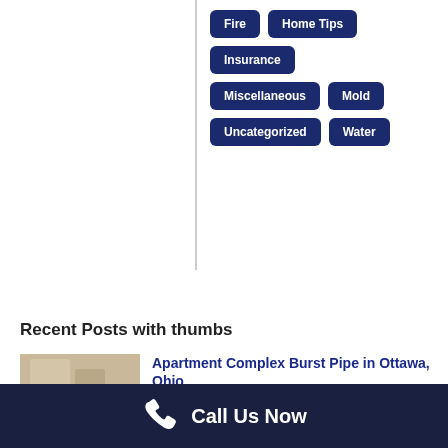Fire
Home Tips
Insurance
Miscellaneous
Mold
Uncategorized
Water
Recent Posts with thumbs
[Figure (photo): Interior room with flooring damage — apartment burst pipe]
Apartment Complex Burst Pipe in Ottawa, Ohio
April 4, 2022
[Figure (photo): Vehicle impact damage to a building — Delphos Ohio]
Vehicle Impact Delphos Ohio
March 10, 2022
Call Us Now